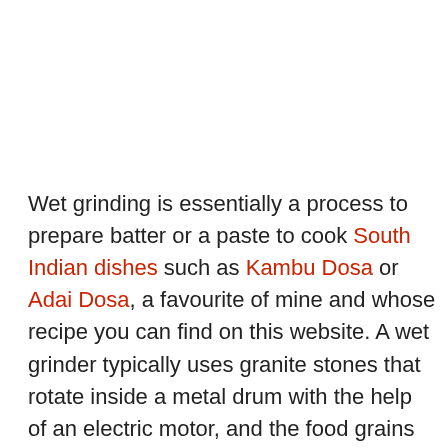Wet grinding is essentially a process to prepare batter or a paste to cook South Indian dishes such as Kambu Dosa or Adai Dosa, a favourite of mine and whose recipe you can find on this website. A wet grinder typically uses granite stones that rotate inside a metal drum with the help of an electric motor, and the food grains get crushed between the stone and the drum.If you're yet to introduce this majestic piece of equipment in your kitchen, you might be missing out on a piece of key equipment to be able to make a variety of exquisite Indian food. If you have bought one of the best wet grinders in the market and are already facing issues,